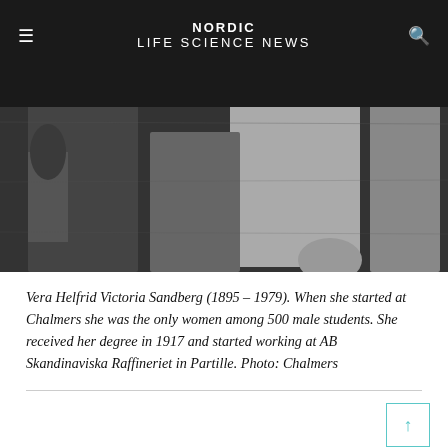NORDIC LIFE SCIENCE NEWS
[Figure (photo): Black and white historical photograph showing a group of people standing together, likely early 20th century.]
Vera Helfrid Victoria Sandberg (1895 – 1979). When she started at Chalmers she was the only women among 500 male students. She received her degree in 1917 and started working at AB Skandinaviska Raffineriet in Partille. Photo: Chalmers